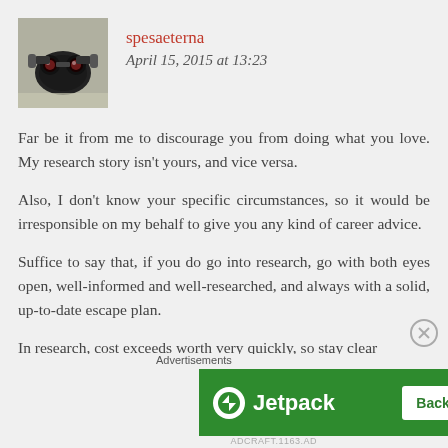spesaeterna
April 15, 2015 at 13:23
Far be it from me to discourage you from doing what you love. My research story isn't yours, and vice versa.
Also, I don't know your specific circumstances, so it would be irresponsible on my behalf to give you any kind of career advice.
Suffice to say that, if you do go into research, go with both eyes open, well-informed and well-researched, and always with a solid, up-to-date escape plan.
In research, cost exceeds worth very quickly, so stay clear
[Figure (infographic): Jetpack advertisement banner with green background, Jetpack logo on left and 'Back up your site' button on right. Advertisements label above.]